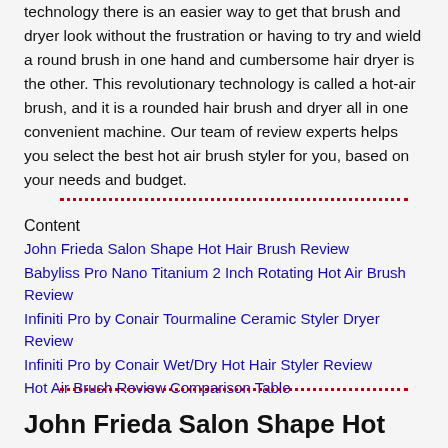technology there is an easier way to get that brush and dryer look without the frustration or having to try and wield a round brush in one hand and cumbersome hair dryer is the other. This revolutionary technology is called a hot-air brush, and it is a rounded hair brush and dryer all in one convenient machine. Our team of review experts helps you select the best hot air brush styler for you, based on your needs and budget.
Content
John Frieda Salon Shape Hot Hair Brush Review
Babyliss Pro Nano Titanium 2 Inch Rotating Hot Air Brush Review
Infiniti Pro by Conair Tourmaline Ceramic Styler Dryer Review
Infiniti Pro by Conair Wet/Dry Hot Hair Styler Review
Hot Air Brush Review Comparison Table
John Frieda Salon Shape Hot Hair